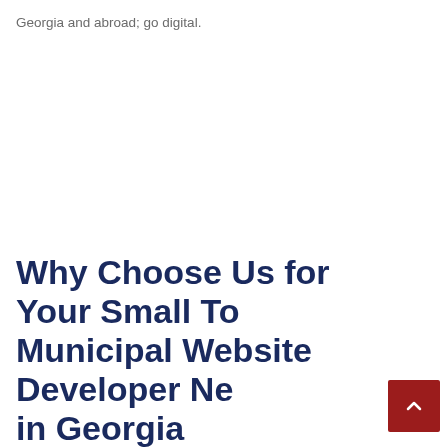Georgia and abroad; go digital.
Why Choose Us for Your Small Town Municipal Website Developer Needs in Georgia